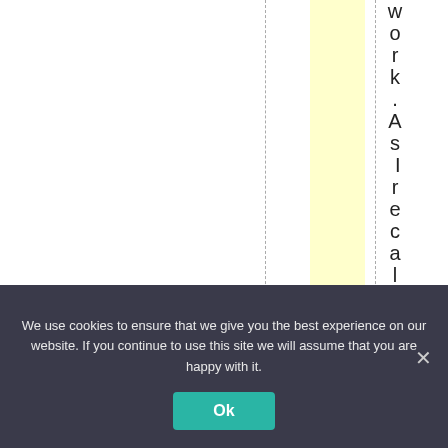[Figure (other): Document page fragment showing vertical text reading 'work. As I recall, hist' arranged letter by letter top to bottom, with a yellow highlighted column, dashed vertical lines on a white background]
We use cookies to ensure that we give you the best experience on our website. If you continue to use this site we will assume that you are happy with it.